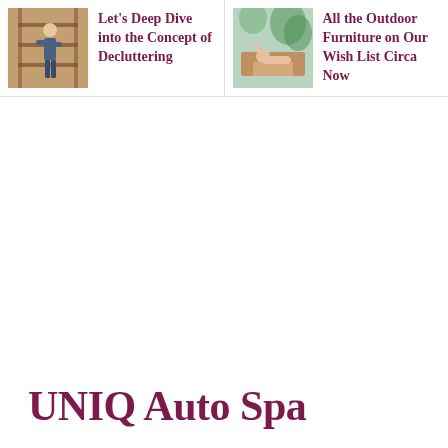[Figure (photo): Person standing near shelves or closet, decluttering scene]
Let's Deep Dive into the Concept of Decluttering
[Figure (photo): Person relaxing on outdoor furniture]
All the Outdoor Furniture on Our Wish List Circa Now
UNIQ Auto Spa